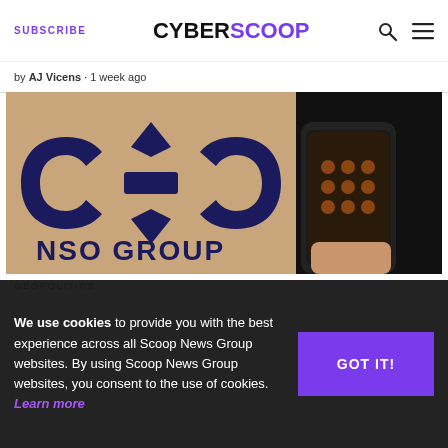SUBSCRIBE | CYBERSCOOP
by AJ Vicens · 1 week ago
[Figure (photo): NSO Group logo on a screen with a hand holding a smartphone in the foreground]
GEOPOLITICS
We use cookies to provide you with the best experience across all Scoop News Group websites. By using Scoop News Group websites, you consent to the use of cookies. Learn more
GOT IT!